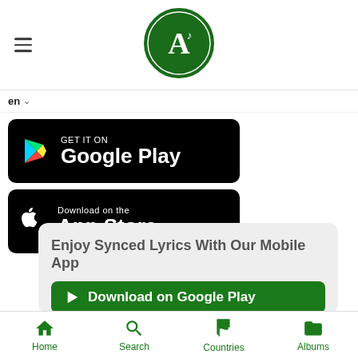[Figure (logo): App logo: green circle with white letter A and musical note]
en ▾
[Figure (screenshot): GET IT ON Google Play button - black rounded rectangle with Google Play logo and text]
[Figure (screenshot): Download on the App Store button - black rounded rectangle with Apple logo and text]
Enjoy Synced Lyrics With Our Mobile App
Download on Google Play
Home
Search
Countries
Albums